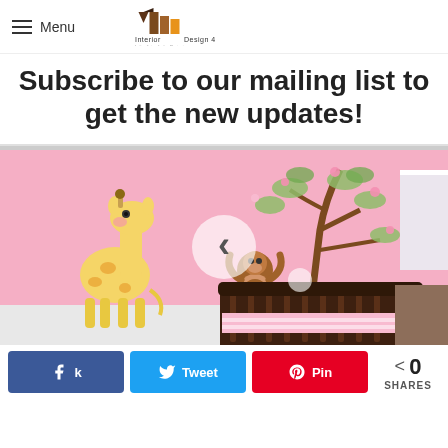Menu | Interior Design 4 | better living, better Designing
Subscribe to our mailing list to get the new updates!
[Figure (photo): Pink nursery room with wall decals of a giraffe, monkey, and tree with flowers. A dark wood crib is in the foreground with pink and white bedding. A navigation arrow overlay is visible in the center.]
0 SHARES